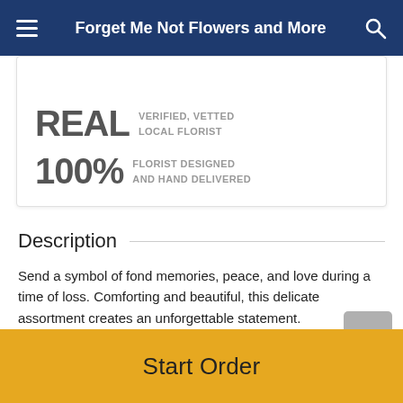Forget Me Not Flowers and More
[Figure (infographic): Badge card with 'REAL LOCAL FLORIST' and '100% FLORIST DESIGNED AND HAND DELIVERED' text]
Description
Send a symbol of fond memories, peace, and love during a time of loss. Comforting and beautiful, this delicate assortment creates an unforgettable statement.
Gerbera daisies, snapdragons, Fuji mums, and more are arranged for display at the funeral home or service.
Start Order